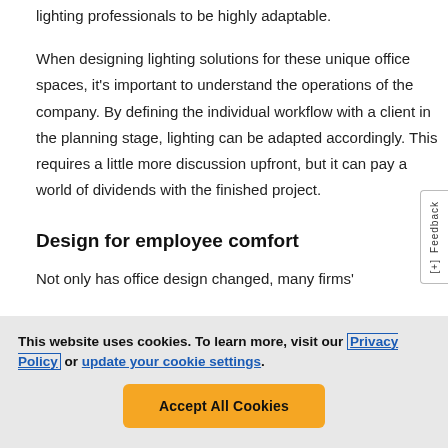lighting professionals to be highly adaptable.
When designing lighting solutions for these unique office spaces, it’s important to understand the operations of the company. By defining the individual workflow with a client in the planning stage, lighting can be adapted accordingly. This requires a little more discussion upfront, but it can pay a world of dividends with the finished project.
Design for employee comfort
Not only has office design changed, many firms’
This website uses cookies. To learn more, visit our Privacy Policy or update your cookie settings.
Accept All Cookies